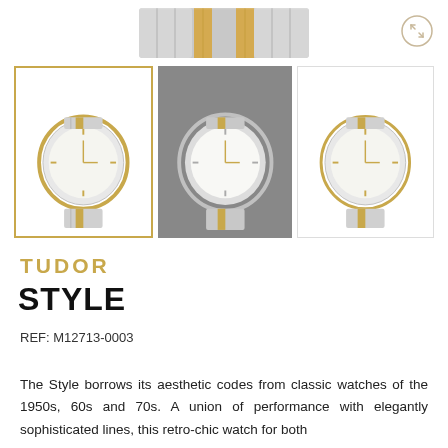[Figure (photo): Top portion of a two-tone steel and gold Tudor watch bracelet, partially cut off at top]
[Figure (photo): Three thumbnail images of the Tudor Style watch M12713-0003. Left: watch on white background with gold border. Center: watch on gray background (selected). Right: watch on white background with light border.]
TUDOR
STYLE
REF: M12713-0003
The Style borrows its aesthetic codes from classic watches of the 1950s, 60s and 70s. A union of performance with elegantly sophisticated lines, this retro-chic watch for both